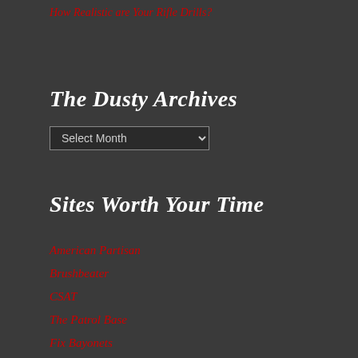How Realistic are Your Rifle Drills?
The Dusty Archives
Select Month
Sites Worth Your Time
American Partisan
Brushbeater
CSAT
The Patrol Base
Fix Bayonets
The Firearm Blog
American Digest
BorderHawk